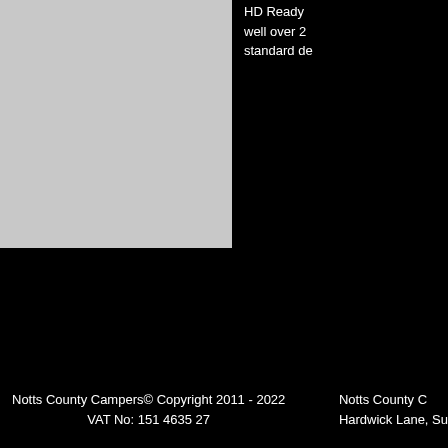[Figure (photo): Light grey rectangular photo placeholder in the upper left area of the page]
HD Ready well over 2 standard de
Notts County Campers© Copyright 2011 - 2022
VAT No: 151 4635 27
Notts County C
Hardwick Lane, Su